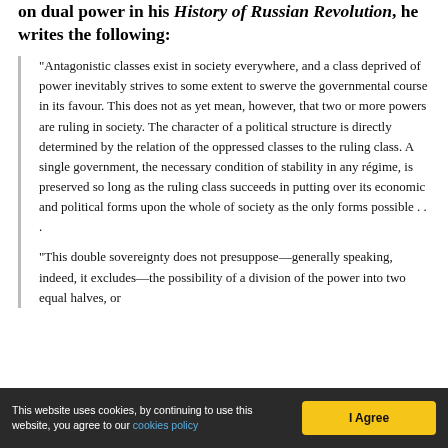on dual power in his History of Russian Revolution, he writes the following:
"Antagonistic classes exist in society everywhere, and a class deprived of power inevitably strives to some extent to swerve the governmental course in its favour. This does not as yet mean, however, that two or more powers are ruling in society. The character of a political structure is directly determined by the relation of the oppressed classes to the ruling class. A single government, the necessary condition of stability in any régime, is preserved so long as the ruling class succeeds in putting over its economic and political forms upon the whole of society as the only forms possible . . .
"This double sovereignty does not presuppose—generally speaking, indeed, it excludes—the possibility of a division of the power into two equal halves, or
This website uses cookies, by continuing to use this website, you agree to our cookies policy   I Agree